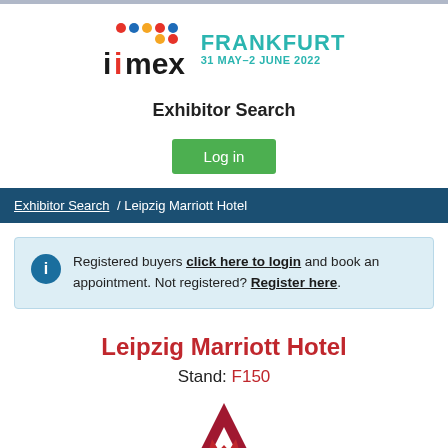[Figure (logo): IMEX Frankfurt 31 MAY-2 JUNE 2022 logo with colorful dot pattern above the word 'imex']
Exhibitor Search
Log in
Exhibitor Search / Leipzig Marriott Hotel
Registered buyers click here to login and book an appointment. Not registered? Register here.
Leipzig Marriott Hotel
Stand: F150
[Figure (logo): Marriott Hotels stylized M logo in dark red]